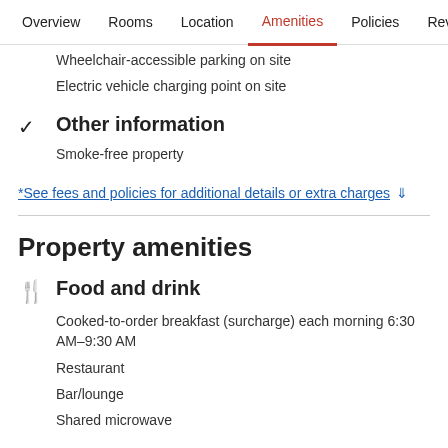Overview   Rooms   Location   Amenities   Policies   Reviews
Wheelchair-accessible parking on site
Electric vehicle charging point on site
Other information
Smoke-free property
*See fees and policies for additional details or extra charges ↓
Property amenities
Food and drink
Cooked-to-order breakfast (surcharge) each morning 6:30 AM–9:30 AM
Restaurant
Bar/lounge
Shared microwave